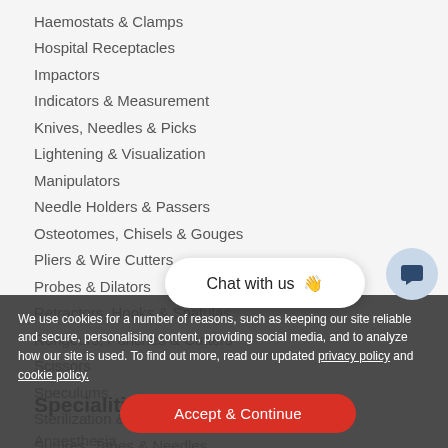Haemostats & Clamps
Hospital Receptacles
Impactors
Indicators & Measurement
Knives, Needles & Picks
Lightening & Visualization
Manipulators
Needle Holders & Passers
Osteotomes, Chisels & Gouges
Pliers & Wire Cutters
Probes & Dilators
Retractors, Hooks & Spatulas
Rongeurs, Punches & Cutters
Scissors
Speculums
Sterilization & Surticon™ Container System
Sutures, Tapes & Needles
Syringes
[Figure (screenshot): Chat with us popup bubble with waving hand emoji, and dark blue chat icon circle]
We use cookies for a number of reasons, such as keeping our site reliable and secure, personalising content, providing social media, and to analyze how our site is used. To find out more, read our updated privacy policy and cookie policy.
Accept & Continue
Specialities
Anaesthesia